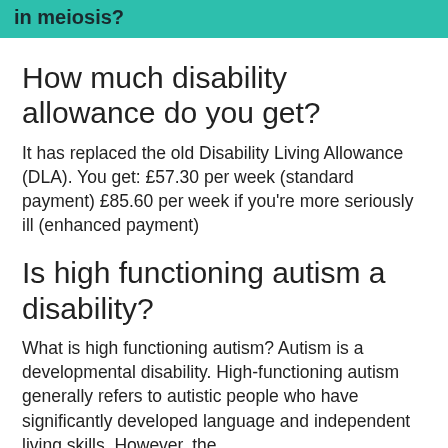in meiosis?
How much disability allowance do you get?
It has replaced the old Disability Living Allowance (DLA). You get: £57.30 per week (standard payment) £85.60 per week if you're more seriously ill (enhanced payment)
Is high functioning autism a disability?
What is high functioning autism? Autism is a developmental disability. High-functioning autism generally refers to autistic people who have significantly developed language and independent living skills. However, the